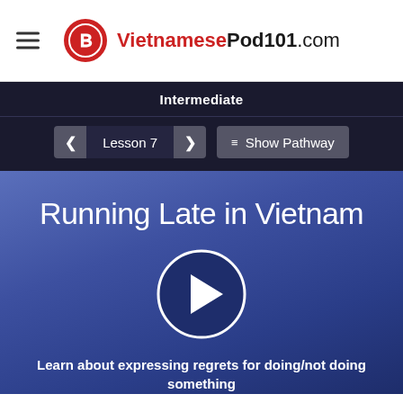VietnamesePod101.com
Intermediate
Lesson 7
Show Pathway
Running Late in Vietnam
[Figure (other): Play button circle for audio/video lesson]
Learn about expressing regrets for doing/not doing something